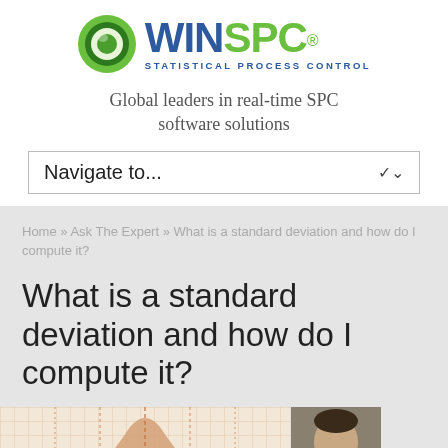[Figure (logo): WinSPC logo with green circular icon and blue/green text reading WIN SPC with subtitle STATISTICAL PROCESS CONTROL]
Global leaders in real-time SPC software solutions
Navigate to...
Home » Ask The Expert » What is a standard deviation and how do I compute it?
What is a standard deviation and how do I compute it?
[Figure (illustration): Partial view of a normal distribution bell curve chart on graph paper, and a headshot photo of a man labeled 'By Steven Malata']